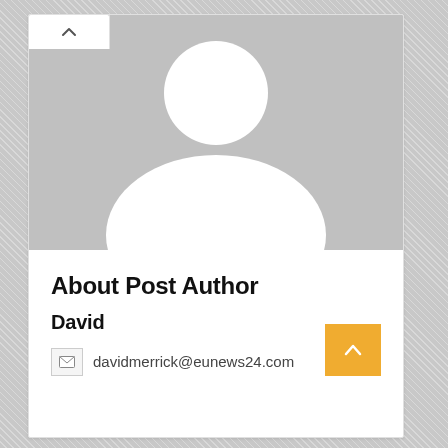[Figure (illustration): Generic avatar placeholder image: grey background with white silhouette of a person (circle head, rounded shoulders/torso)]
About Post Author
David
davidmerrick@eunews24.com